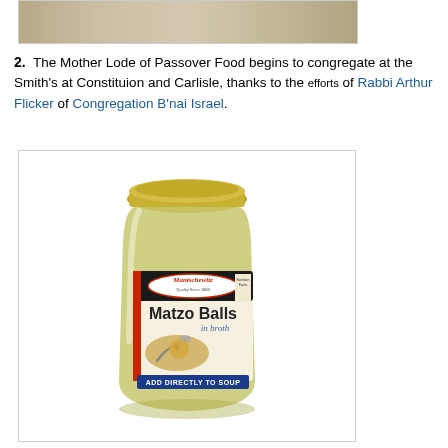[Figure (photo): Top portion of a photo showing a floor/ground scene, partially cropped]
2.  The Mother Lode of Passover Food begins to congregate at the Smith's at Constituion and Carlisle, thanks to the efforts of Rabbi Arthur Flicker of Congregation B'nai Israel.
[Figure (photo): A jar of Manischewitz Matzo Balls in broth with label reading 'ADD DIRECTLY TO SOUP']